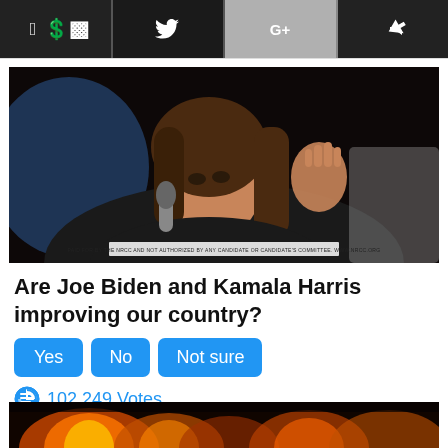[Figure (screenshot): Social media share buttons: Facebook, Twitter, Google+, Share]
[Figure (photo): Photo of Kamala Harris speaking into a microphone at a campaign event, wearing a black jacket. Text watermark at bottom: PAID FOR BY THE NRCC AND NOT AUTHORIZED BY ANY CANDIDATE OR CANDIDATE'S COMMITTEE. WWW.NRCC.ORG]
Are Joe Biden and Kamala Harris improving our country?
[Figure (infographic): Poll buttons: Yes, No, Not sure (blue rounded buttons)]
102,249 Votes
[Figure (photo): Bottom strip of a fire/flames photo]